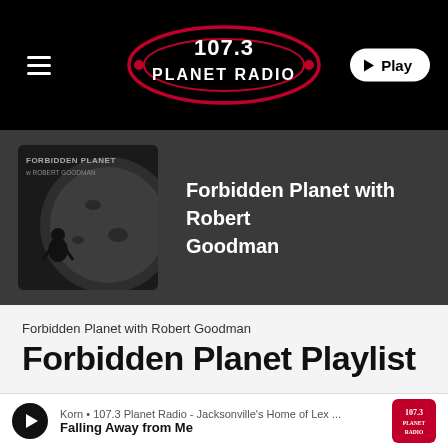[Figure (logo): 107.3 Planet Radio logo in red and white on black background, with orbital ellipse design]
[Figure (illustration): Forbidden Planet with Robert Goodman show artwork — dark circular image showing astronaut figure near a large moon/planet surface, with text 'FORBIDDEN PLANET' and 'ROBERT GOODMAN']
Forbidden Planet with Robert Goodman
Forbidden Planet with Robert Goodman
Forbidden Planet Playlist
Korn • 107.3 Planet Radio - Jacksonville's Home of Lex ...
Falling Away from Me